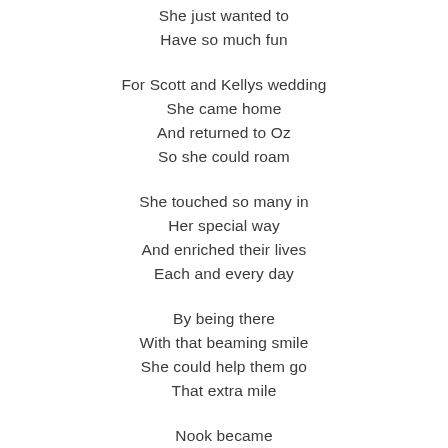She just wanted to
Have so much fun
For Scott and Kellys wedding
She came home
And returned to Oz
So she could roam
She touched so many in
Her special way
And enriched their lives
Each and every day
By being there
With that beaming smile
She could help them go
That extra mile
Nook became